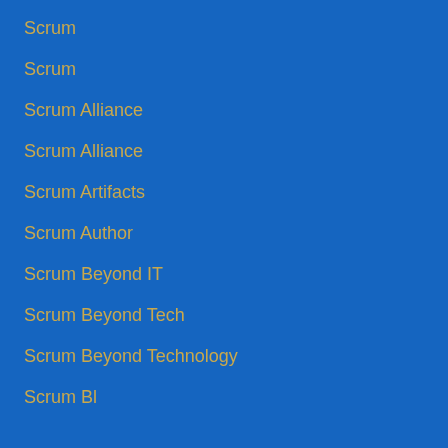Scrum
Scrum
Scrum Alliance
Scrum Alliance
Scrum Artifacts
Scrum Author
Scrum Beyond IT
Scrum Beyond Tech
Scrum Beyond Technology
Scrum Bl…